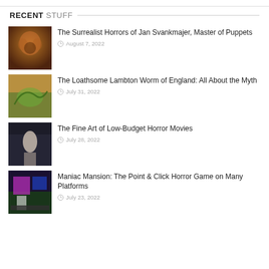RECENT STUFF
The Surrealist Horrors of Jan Svankmajer, Master of Puppets | August 7, 2022
The Loathsome Lambton Worm of England: All About the Myth | July 31, 2022
The Fine Art of Low-Budget Horror Movies | July 28, 2022
Maniac Mansion: The Point & Click Horror Game on Many Platforms | July 23, 2022